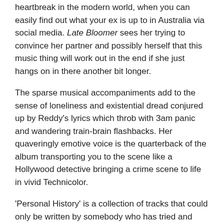heartbreak in the modern world, when you can easily find out what your ex is up to in Australia via social media. Late Bloomer sees her trying to convince her partner and possibly herself that this music thing will work out in the end if she just hangs on in there another bit longer.
The sparse musical accompaniments add to the sense of loneliness and existential dread conjured up by Reddy’s lyrics which throb with 3am panic and wandering train-brain flashbacks. Her quaveringly emotive voice is the quarterback of the album transporting you to the scene like a Hollywood detective bringing a crime scene to life in vivid Technicolor.
‘Personal History’ is a collection of tracks that could only be written by somebody who has tried and failed umpteen times and carried on regardless. It is a love letter to the type of perseverance that only late bloomers can truly comprehend.
GoldenPlec Rating: ★★★★☆